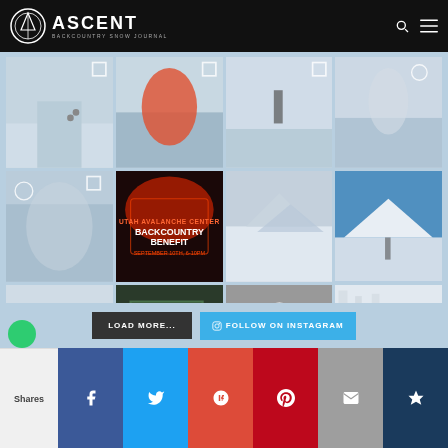ASCENT — BACKCOUNTRY SNOW JOURNAL
[Figure (photo): Grid of 12 Instagram photos showing backcountry skiing and snowboarding scenes]
LOAD MORE...
FOLLOW ON INSTAGRAM
Shares